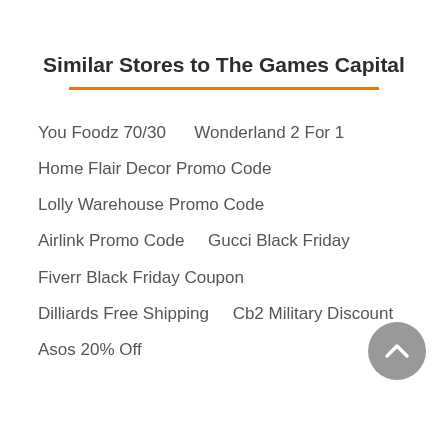Similar Stores to The Games Capital
You Foodz 70/30    Wonderland 2 For 1
Home Flair Decor Promo Code
Lolly Warehouse Promo Code
Airlink Promo Code    Gucci Black Friday
Fiverr Black Friday Coupon
Dilliards Free Shipping    Cb2 Military Discount
Asos 20% Off